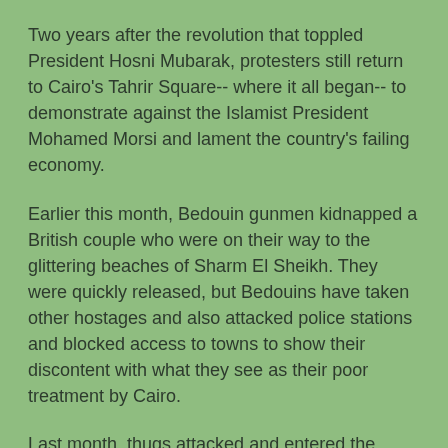Two years after the revolution that toppled President Hosni Mubarak, protesters still return to Cairo's Tahrir Square-- where it all began-- to demonstrate against the Islamist President Mohamed Morsi and lament the country's failing economy.
Earlier this month, Bedouin gunmen kidnapped a British couple who were on their way to the glittering beaches of Sharm El Sheikh. They were quickly released, but Bedouins have taken other hostages and also attacked police stations and blocked access to towns to show their discontent with what they see as their poor treatment by Cairo.
Last month, thugs attacked and entered the InterContinental hotel in Cairo, forcing it to close down while it implemented heightened security measures.